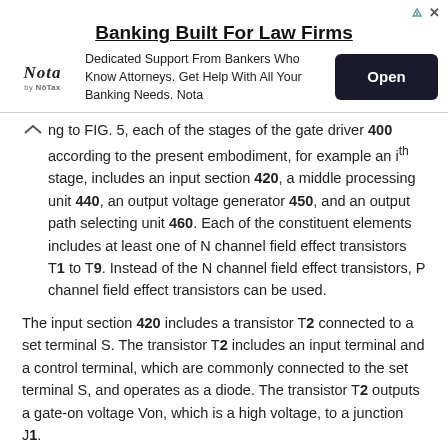[Figure (other): Advertisement banner for Nota banking services for law firms with Open button]
ng to FIG. 5, each of the stages of the gate driver 400 according to the present embodiment, for example an i^th stage, includes an input section 420, a middle processing unit 440, an output voltage generator 450, and an output path selecting unit 460. Each of the constituent elements includes at least one of N channel field effect transistors T1 to T9. Instead of the N channel field effect transistors, P channel field effect transistors can be used.
The input section 420 includes a transistor T2 connected to a set terminal S. The transistor T2 includes an input terminal and a control terminal, which are commonly connected to the set terminal S, and operates as a diode. The transistor T2 outputs a gate-on voltage Von, which is a high voltage, to a junction J1.
The middle processing unit 440 outputs a gate-off voltage Voff, which is a low voltage, to junctions J1 and J2, and includes three transistors T3, T4, and T7, and a capacitor C1.
The transistor T3 has a control terminal connected to a reset terminal R and